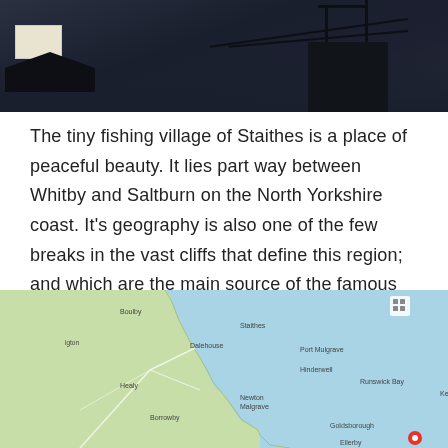[Figure (photo): Dark nighttime or twilight photograph of a building silhouette with utility poles, wires, and a sign visible against a dark blue-grey sky]
The tiny fishing village of Staithes is a place of peaceful beauty. It lies part way between Whitby and Saltburn on the North Yorkshire coast. It's geography is also one of the few breaks in the vast cliffs that define this region; and which are the main source of the famous Whitby Jet semi-precious stone.
[Figure (map): Google Maps screenshot showing the North Yorkshire coast including locations: Boulby, Staithes, Dalehouse, Port Mulgrave, Hinderwell, Runswick Bay, Kettle Ness, Goldsborough, Ellerby, Newton Mulgrave, Borrowby, Healy, with a red marker pin visible at the bottom right of the map]